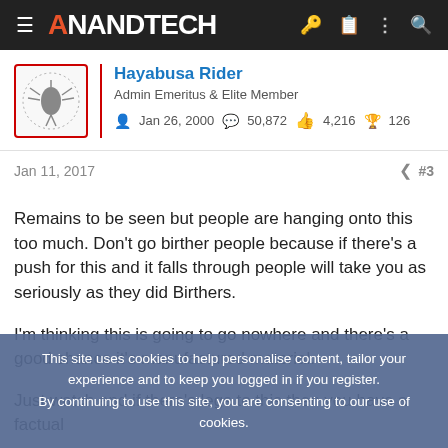AnandTech
Hayabusa Rider
Admin Emeritus & Elite Member
Jan 26, 2000   50,872   4,216   126
Jan 11, 2017   #3
Remains to be seen but people are hanging onto this too much. Don't go birther people because if there's a push for this and it falls through people will take you as seriously as they did Birthers.

I'm thinking this is going to go nowhere and there's a good chance it's manufactured material.

Just watch and if there's legs to this then you have a factual
This site uses cookies to help personalise content, tailor your experience and to keep you logged in if you register.
By continuing to use this site, you are consenting to our use of cookies.